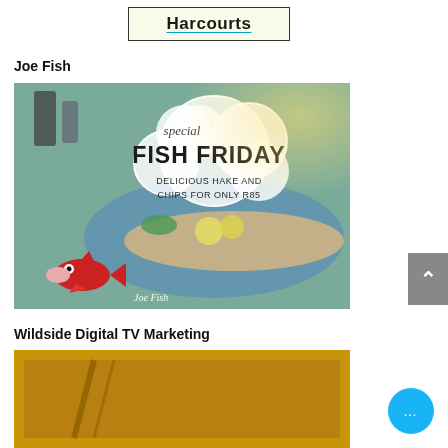[Figure (logo): Harcourts logo/banner in a bordered box with cream background]
Joe Fish
[Figure (photo): Joe Fish restaurant promotional image for Fish Friday. Shows a plate of hake and chips with text: 'special FISH FRIDAY DELICIOUS HAKE AND CHIPS FOR ONLY R85'. Red cartoon fish mascot in bottom left corner with 'Joe Fish' signature.]
Wildside Digital TV Marketing
[Figure (photo): Partial view of Wildside Digital TV Marketing promotional image with golden/orange background]